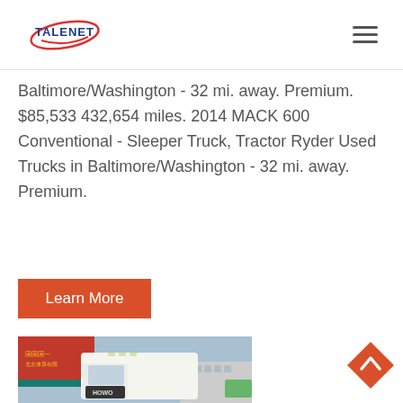TALENET
Baltimore/Washington - 32 mi. away. Premium. $85,533 432,654 miles. 2014 MACK 600 Conventional - Sleeper Truck, Tractor Ryder Used Trucks in Baltimore/Washington - 32 mi. away. Premium.
Learn More
[Figure (photo): White HOWO semi-truck parked in front of a commercial building with Chinese signage and red awning, blue sky background.]